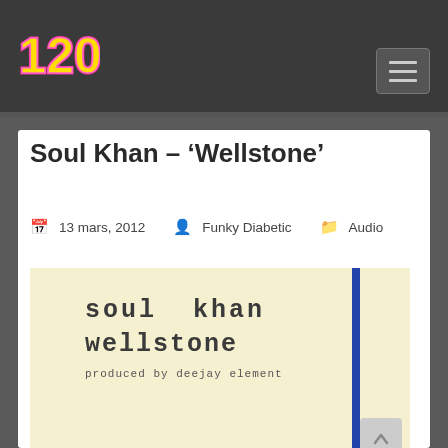1200 - website header with logo and navigation hamburger button
Soul Khan – ‘Wellstone’
13 mars, 2012   Funky Diabetic   Audio
[Figure (photo): Album art for Soul Khan - Wellstone, produced by Deejay Element. Cream/yellow background with bold monospace text reading 'soul khan wellstone produced by deejay element', with a dark blue vertical stripe on the right side.]